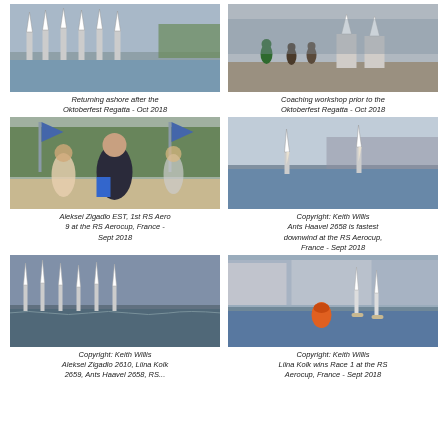[Figure (photo): Sailing dinghies returning ashore at a marina after the Oktoberfest Regatta, Oct 2018]
[Figure (photo): Coaching workshop with people standing around RS Aero dinghies prior to the Oktoberfest Regatta, Oct 2018]
Returning ashore after the Oktoberfest Regatta - Oct 2018
Coaching workshop prior to the Oktoberfest Regatta - Oct 2018
[Figure (photo): Aleksei Zigadlo EST celebrating 1st RS Aero 9 at the RS Aerocup, France, Sept 2018]
[Figure (photo): Two RS Aero dinghies sailing downwind at the RS Aerocup, France, Sept 2018]
Aleksei Zigadlo EST, 1st RS Aero 9 at the RS Aerocup, France - Sept 2018
Copyright: Keith Willis
Ants Haavel 2658 is fastest downwind at the RS Aerocup, France - Sept 2018
[Figure (photo): Fleet of RS Aero dinghies racing at the RS Aerocup, France, Sept 2018]
[Figure (photo): RS Aero dinghies rounding an orange buoy at the RS Aerocup, France, Sept 2018]
Copyright: Keith Willis
Aleksei Zigadlo 2610, Liina Kolk 2659, Ants Haavel 2658, RS...
Copyright: Keith Willis
Liina Kolk wins Race 1 at the RS Aerocup, France - Sept 2018